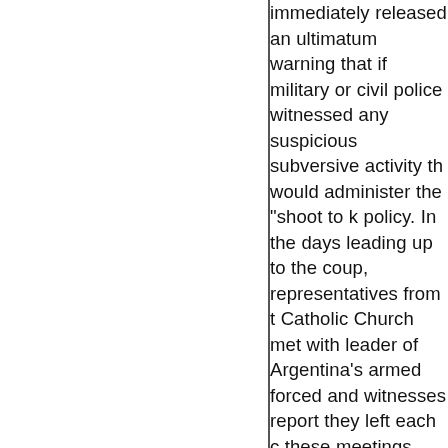immediately released an ultimatum warning that if military or civil police witnessed any suspicious subversive activity they would administer the "shoot to kill" policy. In the days leading up to the coup, representatives from the Catholic Church met with leaders of Argentina's armed forced and witnesses report they left each of these meetings smiling. Two days after the coup then-U.S. Secretary Henry Kissinger ordered his subordinates to "encourage" the new regime by providing financial support, according to newly declassified U.S. cables and transcripts relating to the coup. Washington approved $50 million in military aid to the junta the following month. During Jorge Rafael Videla's official visit to Washington in 1977 President